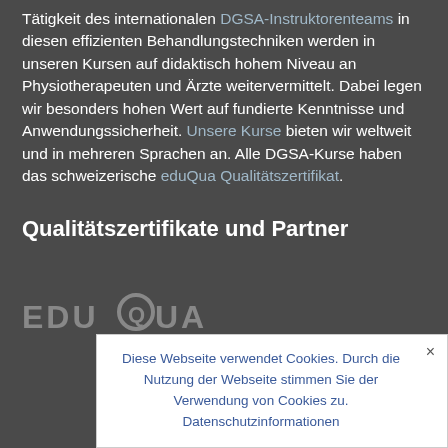Tätigkeit des internationalen DGSA-Instruktorenteams in diesen effizienten Behandlungstechniken werden in unseren Kursen auf didaktisch hohem Niveau an Physiotherapeuten und Ärzte weitervermittelt. Dabei legen wir besonders hohen Wert auf fundierte Kenntnisse und Anwendungssicherheit. Unsere Kurse bieten wir weltweit und in mehreren Sprachen an. Alle DGSA-Kurse haben das schweizerische eduQua Qualitätszertifikat.
Qualitätszertifikate und Partner
[Figure (logo): eduQua logo in grey text with stylized Q circle]
Diese Webseite verwendet Cookies. Durch die Nutzung der Webseite stimmen Sie der Verwendung von Cookies zu. Datenschutzinformationen